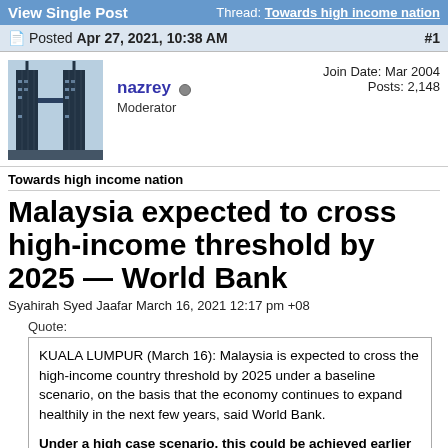View Single Post | Thread: Towards high income nation
Posted Apr 27, 2021, 10:38 AM  #1
[Figure (photo): Avatar image of user nazrey showing city buildings (Petronas Towers style skyscrapers)]
nazrey
Moderator
Join Date: Mar 2004
Posts: 2,148
Towards high income nation
Malaysia expected to cross high-income threshold by 2025 — World Bank
Syahirah Syed Jaafar March 16, 2021 12:17 pm +08
Quote:
KUALA LUMPUR (March 16): Malaysia is expected to cross the high-income country threshold by 2025 under a baseline scenario, on the basis that the economy continues to expand healthily in the next few years, said World Bank.

Under a high case scenario, this could be achieved earlier